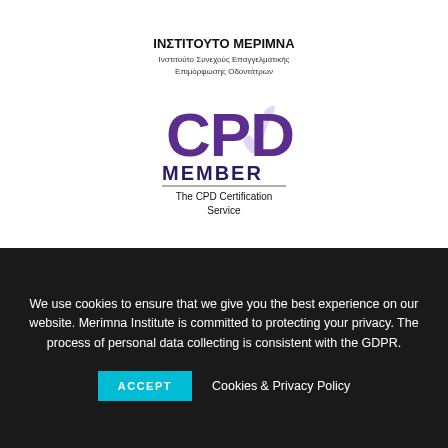ΙΝΣΤΙΤΟΥΤΟ ΜΕΡΙΜΝΑ
Ινστιτούτο Συνεχούς Επαγγελματικής Επιμόρφωσης Οδοντάτρων
[Figure (logo): CPD Member logo — The CPD Certification Service badge with purple CPD letters and MEMBER text below]
We use cookies to ensure that we give you the best experience on our website. Merimna Institute is committed to protecting your privacy. The process of personal data collecting is consistent with the GDPR.
ACCEPT   Cookies & Privacy Policy